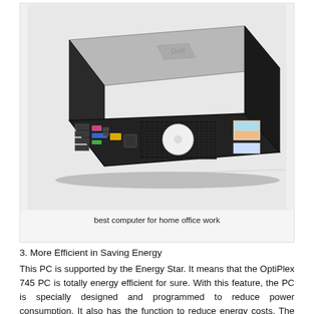[Figure (photo): Photo of a Dell OptiPlex 745 desktop PC showing the rear/side view with expansion slots, ports, ventilation grill, and stickers on the side panel.]
best computer for home office work
3. More Efficient in Saving Energy
This PC is supported by the Energy Star. It means that the OptiPlex 745 PC is totally energy efficient for sure. With this feature, the PC is specially designed and programmed to reduce power consumption. It also has the function to reduce energy costs. The PC is great in saving energy because this PC is